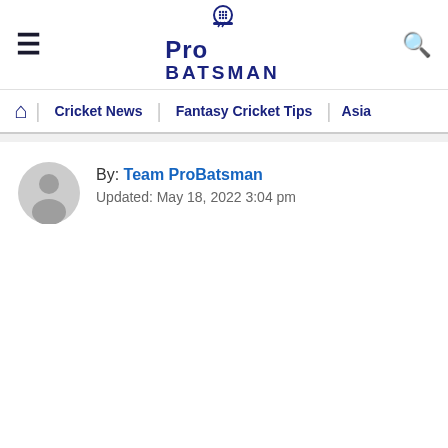Pro Batsman
By: Team ProBatsman
Updated: May 18, 2022 3:04 pm